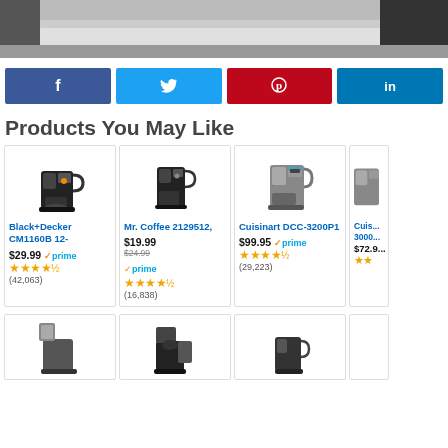[Figure (photo): Top partial image of what appears to be a coffee maker or kitchen appliance on a surface]
[Figure (infographic): Social media sharing buttons: Facebook (f), Twitter bird, Pinterest (p), LinkedIn (in)]
Products You May Like
[Figure (photo): Black+Decker CM1160B 12-cup coffee maker product image]
Black+Decker CM1160B 12-
$29.99 ✓prime ★★★★☆ (42,063)
[Figure (photo): Mr. Coffee 2129512 coffee maker product image]
Mr. Coffee 2129512,
$19.99 $24.99 ✓prime ★★★★☆ (16,838)
[Figure (photo): Cuisinart DCC-3200P1 coffee maker product image]
Cuisinart DCC-3200P1
$99.95 ✓prime ★★★★☆ (29,223)
[Figure (photo): Cuisinart 3000-series partial product card cut off at right edge]
Cuis... 3000...
$72.9... ★★...
[Figure (photo): Second row of product cards showing coffee makers partially visible at bottom of page]